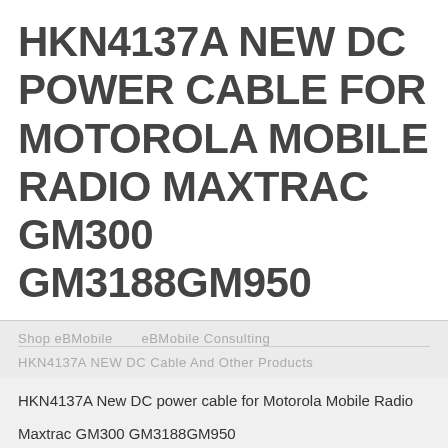HKN4137A NEW DC POWER CABLE FOR MOTOROLA MOBILE RADIO MAXTRAC GM300 GM3188GM950
Shop eBMobile   eBMobile Consulting
HKN4137A NEW DC Cable And Other Products
HKN4137A New DC power cable for Motorola Mobile Radio
Maxtrac GM300 GM3188GM950